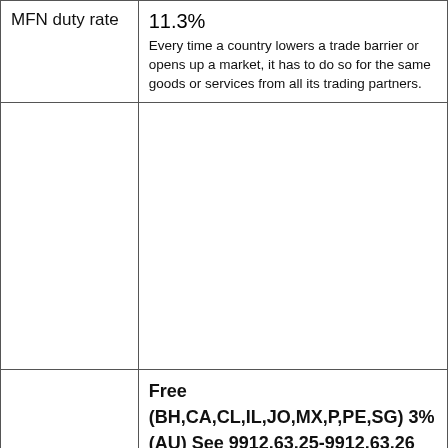| MFN duty rate | 11.3%
Every time a country lowers a trade barrier or opens up a market, it has to do so for the same goods or services from all its trading partners. |
|  |  |
|  | Free (BH,CA,CL,IL,JO,MX,P,PE,SG) 3% (AU) See 9912.63.25-9912.63.26 (MA) 6.7% (OM)

Detail: |